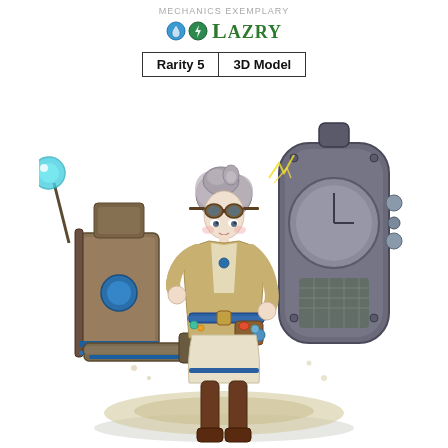MECHANICS EXEMPLARY
Lazry
Rarity 5 | 3D Model
[Figure (illustration): Anime-style steampunk female character named Lazry standing with mechanical equipment including a large gear/clock apparatus, blue glowing orb on a staff, and various gadgets. Character has grey hair with goggles, wearing brown/beige adventurer outfit with blue accents and boots.]